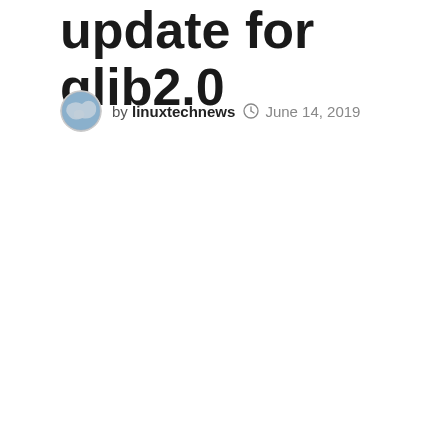update for glib2.0
by linuxtechnews  June 14, 2019